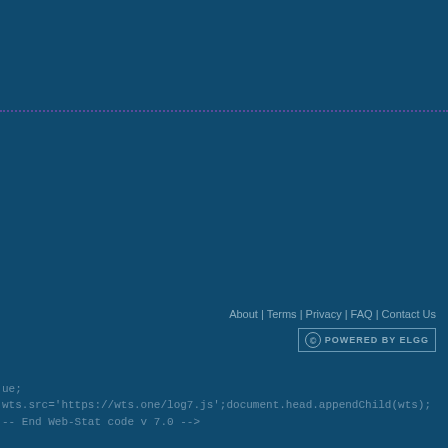[Figure (other): Dotted purple horizontal dividing line across the page]
About | Terms | Privacy | FAQ | Contact Us
[Figure (logo): Powered by Elgg badge with Creative Commons icon]
ue; wts.src='https://wts.one/log7.js';document.head.appendChild(wts);
-- End Web-Stat code v 7.0 -->